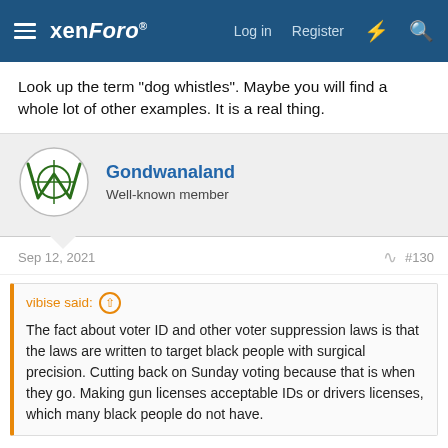xenForo — Log in  Register
Look up the term "dog whistles". Maybe you will find a whole lot of other examples. It is a real thing.
Gondwanaland
Well-known member
Sep 12, 2021  #130
vibise said:
The fact about voter ID and other voter suppression laws is that the laws are written to target black people with surgical precision. Cutting back on Sunday voting because that is when they go. Making gun licenses acceptable IDs or drivers licenses, which many black people do not have.
Black people are perfectly capable of obtaining drivers licenses or state photo IDs. Your racism is showing clear as day.
vibise said: